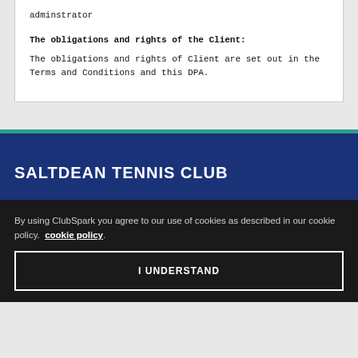adminstrator
The obligations and rights of the Client:
The obligations and rights of Client are set out in the Terms and Conditions and this DPA.
SALTDEAN TENNIS CLUB
By using ClubSpark you agree to our use of cookies as described in our cookie policy. cookie policy.
I UNDERSTAND